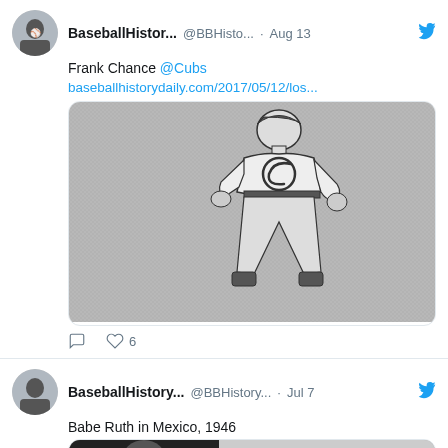BaseballHistor... @BBHisto... · Aug 13
Frank Chance @Cubs
baseballhistorydaily.com/2017/05/12/los...
[Figure (illustration): Black and white illustration of a baseball player in a Cubs uniform]
6 likes
BaseballHistory... @BBHistory... · Jul 7
Babe Ruth in Mexico, 1946
[Figure (photo): Black and white photo of Babe Ruth, partially visible at bottom]